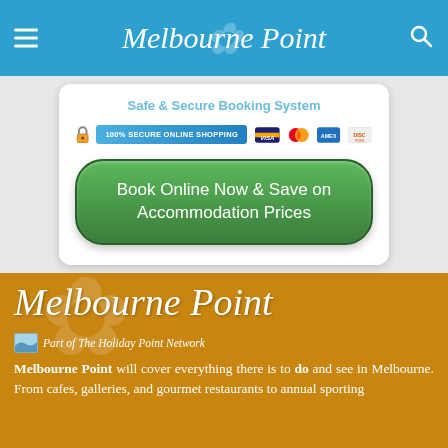Melbourne Point
[Figure (screenshot): 100% SECURE ONLINE SHOPPING badge with lock icon and credit card logos (Visa, MasterCard, Amex, Discover)]
Book Online Now & Save on Accommodation Prices
[Figure (logo): Melbourne Point logo in white italic script on golden-brown background]
Part of The Holiday Point Network
Melbourne Point will cover everything there is to do and see in Melbourne. From cafes, galleries, and gourmet restaurants to annual sporting